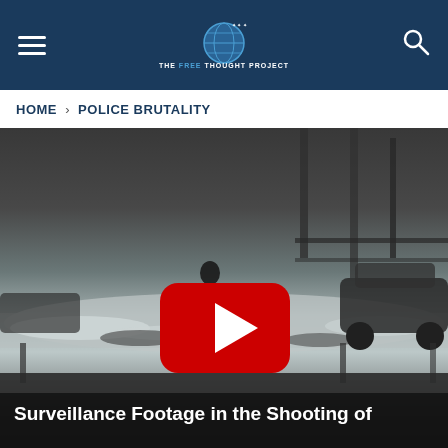THE FREE THOUGHT PROJECT
HOME > POLICE BRUTALITY
[Figure (screenshot): Security camera surveillance footage showing a snowy parking lot or outdoor area with a figure walking, overlaid with a YouTube play button. Below the image is the beginning of an article title.]
Surveillance Footage in the Shooting of